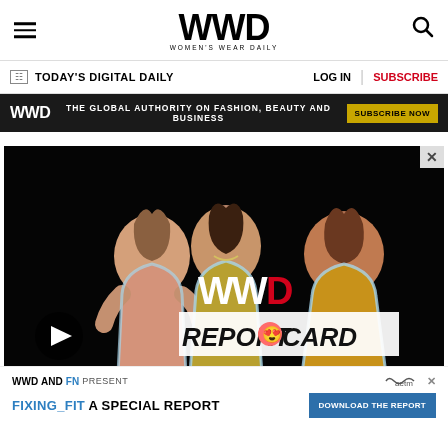WWD Women's Wear Daily
TODAY'S DIGITAL DAILY | LOG IN | SUBSCRIBE
WWD THE GLOBAL AUTHORITY ON FASHION, BEAUTY AND BUSINESS | SUBSCRIBE NOW
[Figure (screenshot): Video thumbnail showing three women in glamorous outfits against a black background, with WWD Report Card logo overlay and a play button]
WWD AND FN PRESENT FIXING_FIT A SPECIAL REPORT | DOWNLOAD THE REPORT